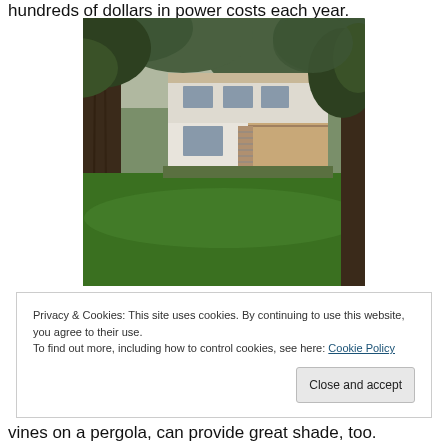hundreds of dollars in power costs each year.
[Figure (photo): Exterior view of a two-story white house with a large tree in the foreground and a lush green lawn. The house has an elevated deck with stairs and trees surrounding the property.]
Privacy & Cookies: This site uses cookies. By continuing to use this website, you agree to their use.
To find out more, including how to control cookies, see here: Cookie Policy
vines on a pergola, can provide great shade, too.